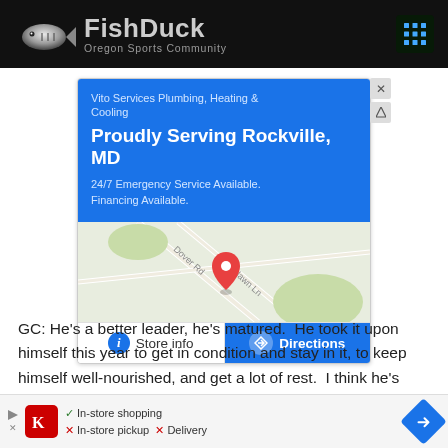[Figure (logo): FishDuck Oregon Sports Community logo with fish icon on black header bar]
[Figure (screenshot): Google Maps ad for Vito Services Plumbing, Heating & Cooling - Proudly Serving Rockville, MD. 24/7 Emergency Service Available. Financing Available. Shows map with location pin and Store info / Directions buttons.]
GC: He's a better leader, he's matured.  He took it upon himself this year to get in condition and stay in it, to keep himself well-nourished, and get a lot of rest.  I think he's
[Figure (screenshot): Bottom advertisement bar showing Kroger logo with In-store shopping (checkmark), In-store pickup (X), Delivery (X) and a directions icon]